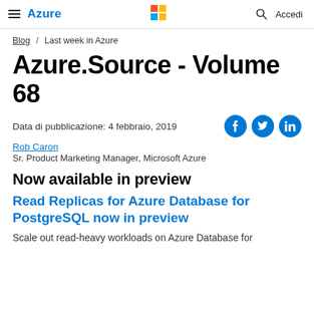Azure / Accedi
Blog / Last week in Azure
Azure.Source - Volume 68
Data di pubblicazione: 4 febbraio, 2019
Rob Caron
Sr. Product Marketing Manager, Microsoft Azure
Now available in preview
Read Replicas for Azure Database for PostgreSQL now in preview
Scale out read-heavy workloads on Azure Database for